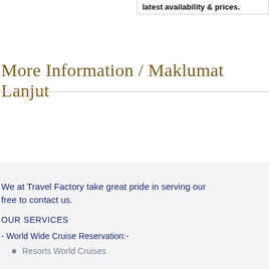latest availability & prices.
More Information / Maklumat Lanjut
We at Travel Factory take great pride in serving our free to contact us.
OUR SERVICES
- World Wide Cruise Reservation:-
Resorts World Cruises